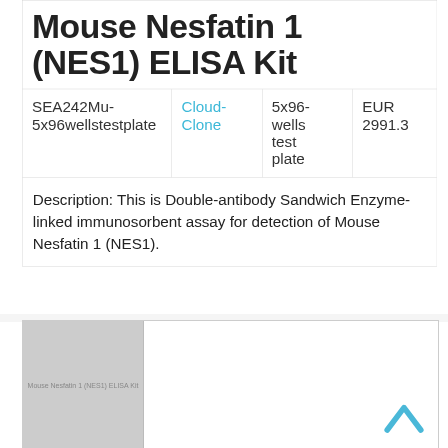Mouse Nesfatin 1 (NES1) ELISA Kit
| Product ID | Supplier | Size | Price |
| --- | --- | --- | --- |
| SEA242Mu-5x96wellstestplate | Cloud-Clone | 5x96-wells test plate | EUR 2991.3 |
Description: This is Double-antibody Sandwich Enzyme-linked immunosorbent assay for detection of Mouse Nesfatin 1 (NES1).
[Figure (photo): Thumbnail image of Mouse Nesfatin 1 (NES1) ELISA Kit product with gray placeholder and a blue upward chevron arrow on the right side]